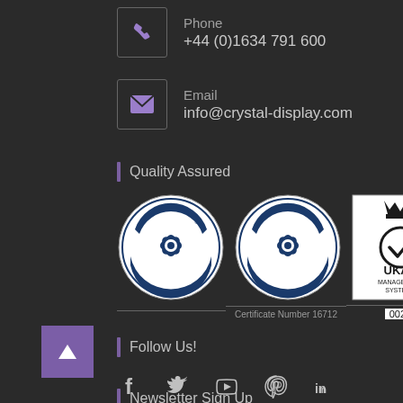Phone
+44 (0)1634 791 600
Email
info@crystal-display.com
Quality Assured
[Figure (logo): ISO 9001 ISOQAR Registered badge, ISO 14001 ISOQAR Registered badge, and UKAS Management Systems 0026 badge. Certificate Number 16712.]
[Figure (other): Back to top button - purple square with upward triangle arrow]
Follow Us!
[Figure (other): Social media icons: Facebook, Twitter, YouTube, Pinterest, LinkedIn]
Newsletter Sign Up